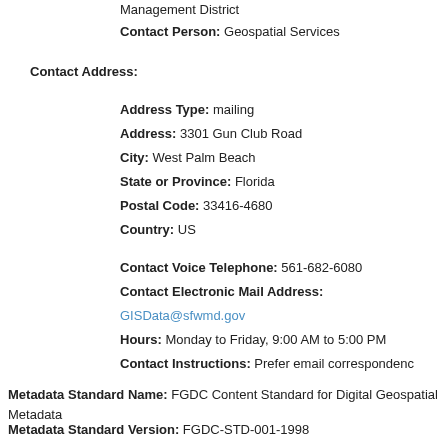Management District
Contact Person: Geospatial Services
Contact Address:
Address Type: mailing
Address: 3301 Gun Club Road
City: West Palm Beach
State or Province: Florida
Postal Code: 33416-4680
Country: US
Contact Voice Telephone: 561-682-6080
Contact Electronic Mail Address:
GISData@sfwmd.gov
Hours: Monday to Friday, 9:00 AM to 5:00 PM
Contact Instructions: Prefer email correspondenc
Metadata Standard Name: FGDC Content Standard for Digital Geospatial Metadata
Metadata Standard Version: FGDC-STD-001-1998
Metadata Time Convention: local time